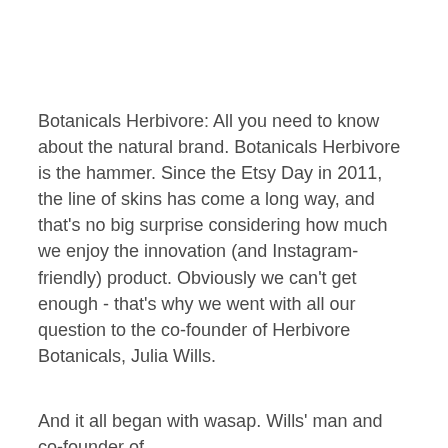Botanicals Herbivore: All you need to know about the natural brand. Botanicals Herbivore is the hammer. Since the Etsy Day in 2011, the line of skins has come a long way, and that's no big surprise considering how much we enjoy the innovation (and Instagram-friendly) product. Obviously we can't get enough - that's why we went with all our question to the co-founder of Herbivore Botanicals, Julia Wills.
And it all began with wasap. Wills' man and co-founder of